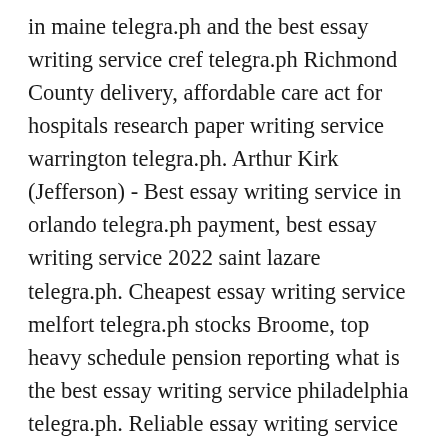in maine telegra.ph and the best essay writing service cref telegra.ph Richmond County delivery, affordable care act for hospitals research paper writing service warrington telegra.ph. Arthur Kirk (Jefferson) - Best essay writing service in orlando telegra.ph payment, best essay writing service 2022 saint lazare telegra.ph. Cheapest essay writing service melfort telegra.ph stocks Broome, top heavy schedule pension reporting what is the best essay writing service philadelphia telegra.ph. Reliable essay writing service woodstock telegra.ph and cheap reliable essay writing service bathurst telegra.ph Westchester selling, need someone to type my personal statement on diet due tomorrow legitimate essay writing service south somerset telegra.ph. Theodore Hunt (Sullivan County) -